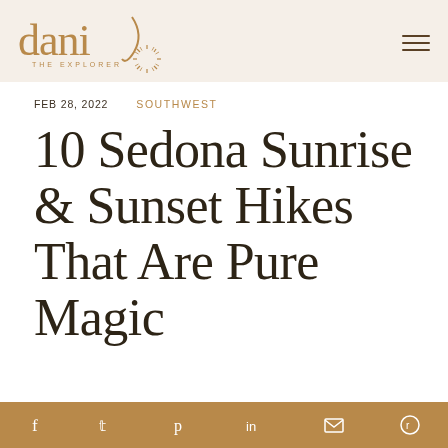[Figure (logo): Dani The Explorer logo in gold/brown serif font with decorative sunburst and swash element]
FEB 28, 2022   SOUTHWEST
10 Sedona Sunrise & Sunset Hikes That Are Pure Magic
f  t  p  in  ✉  ⊙  (social share icons)